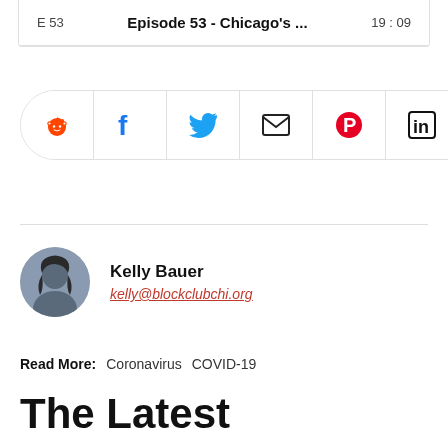E 53   Episode 53 - Chicago's ...   19:09
[Figure (infographic): Social share buttons bar with icons: Reddit (orange), Facebook (blue), Twitter (blue bird), Email (envelope), Pinterest (red P), LinkedIn (in box), WhatsApp (phone)]
Kelly Bauer
kelly@blockclubchi.org
Read More:  Coronavirus  COVID-19
The Latest